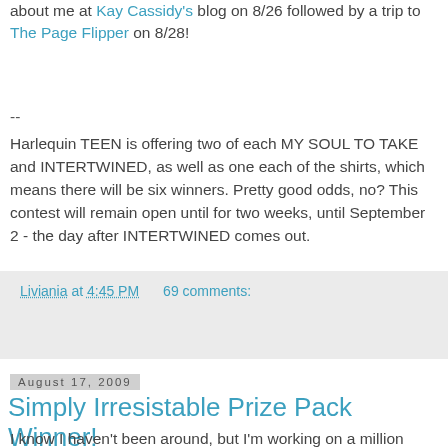about me at Kay Cassidy's blog on 8/26 followed by a trip to The Page Flipper on 8/28!
--
Harlequin TEEN is offering two of each MY SOUL TO TAKE and INTERTWINED, as well as one each of the shirts, which means there will be six winners. Pretty good odds, no? This contest will remain open until for two weeks, until September 2 - the day after INTERTWINED comes out.
Liviania at 4:45 PM    69 comments:
Share
August 17, 2009
Simply Irresistable Prize Pack Winner!
I know I haven't been around, but I'm working on a million